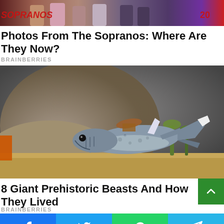[Figure (photo): Top strip showing Sopranos cast members at an event, with red Sopranos logo text visible on left and right sides]
Photos From The Sopranos: Where Are They Now?
BRAINBERRIES
[Figure (photo): A detailed figurine/model of a prehistoric shark (resembling a Hybodus or similar) displayed against a rocky diorama background with sand and vegetation]
8 Giant Prehistoric Beasts And How They Lived
BRAINBERRIES
[Figure (infographic): Social share bar with Facebook, Twitter, WhatsApp, and Telegram buttons]